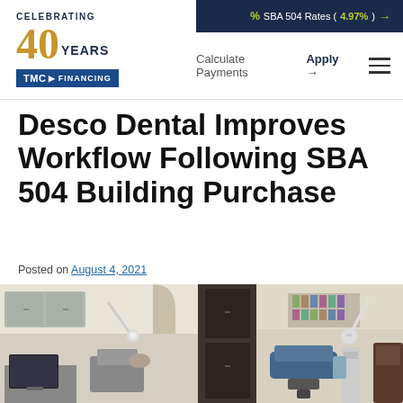SBA 504 Rates (4.97%) →  Calculate Payments  Apply →
[Figure (logo): TMC Financing logo with 'Celebrating 40 Years' text in gold and navy]
Desco Dental Improves Workflow Following SBA 504 Building Purchase
Posted on August 4, 2021
[Figure (photo): Interior photo of a dental office showing two treatment rooms with dental chairs, equipment, overhead lights, cabinetry, and dental instruments]